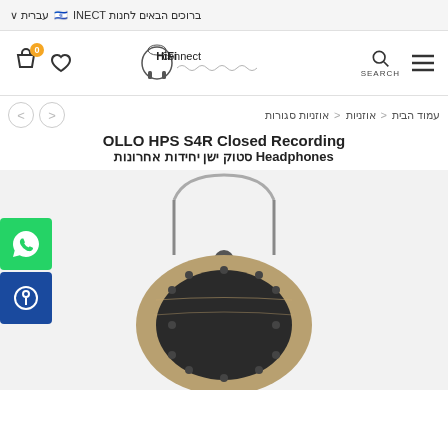ברוכים הבאים לחנות INECT | עברית
[Figure (logo): HiFiconnect logo with headphones icon and soundwave graphic]
עמוד הבית < אוזניות < אוזניות סגורות
OLLO HPS S4R Closed Recording Headphones סטוק ישן יחידות אחרונות
[Figure (photo): OLLO HPS S4R closed-back headphones shown from the back, with wooden ear cup surround, black grille, and metal headband visible]